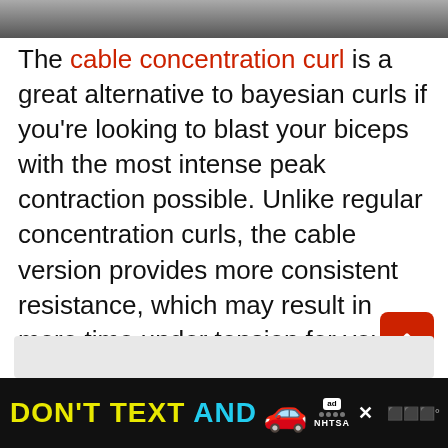[Figure (photo): Top strip showing partial image of a person, cropped at the top]
The cable concentration curl is a great alternative to bayesian curls if you're looking to blast your biceps with the most intense peak contraction possible. Unlike regular concentration curls, the cable version provides more consistent resistance, which may result in more time under tension for your biceps.
[Figure (other): Red scroll-to-top button with double chevron arrows]
DON'T TEXT AND [car emoji] ad NHTSA [close] www